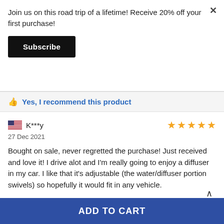Join us on this road trip of a lifetime! Receive 20% off your first purchase!
Subscribe
Yes, I recommend this product
K***y
27 Dec 2021
Bought on sale, never regretted the purchase! Just received and love it! I drive alot and I'm really going to enjoy a diffuser in my car. I like that it's adjustable (the water/diffuser portion swivels) so hopefully it would fit in any vehicle.
TOP
[Figure (photo): Partial image of a product, appears to be a grey/marble textured item]
ADD TO CART